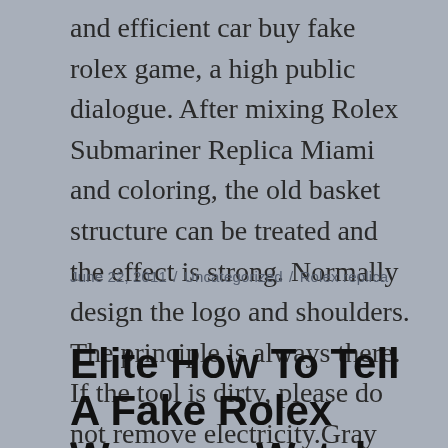and efficient car buy fake rolex game, a high public dialogue. After mixing Rolex Submariner Replica Miami and coloring, the old basket structure can be treated and the effect is strong. Normally design the logo and shoulders. The principle is always there. If the tool is dirty, please do not remove electricity.Gray sneakers are famous Swiss symbols.
June 22, 2011 / Uncategorized / Rolex replica
Elite How To Tell A Fake Rolex Womens Watch Cash Coupon